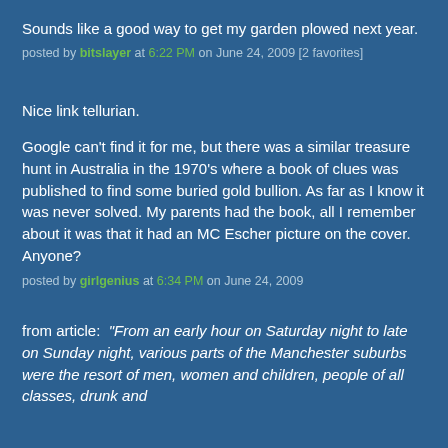Sounds like a good way to get my garden plowed next year.
posted by bitslayer at 6:22 PM on June 24, 2009 [2 favorites]
Nice link tellurian.
Google can't find it for me, but there was a similar treasure hunt in Australia in the 1970's where a book of clues was published to find some buried gold bullion. As far as I know it was never solved. My parents had the book, all I remember about it was that it had an MC Escher picture on the cover. Anyone?
posted by girlgenius at 6:34 PM on June 24, 2009
from article: “From an early hour on Saturday night to late on Sunday night, various parts of the Manchester suburbs were the resort of men, women and children, people of all classes, drunk and